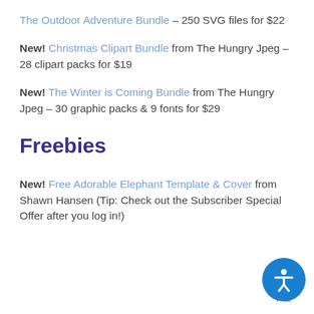The Outdoor Adventure Bundle – 250 SVG files for $22
New! Christmas Clipart Bundle from The Hungry Jpeg – 28 clipart packs for $19
New! The Winter is Coming Bundle from The Hungry Jpeg – 30 graphic packs & 9 fonts for $29
Freebies
New! Free Adorable Elephant Template & Cover from Shawn Hansen (Tip: Check out the Subscriber Special Offer after you log in!)